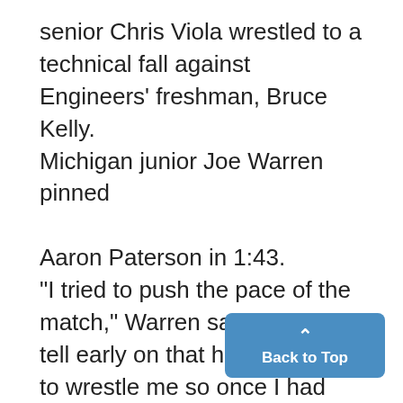senior Chris Viola wrestled to a technical fall against Engineers' freshman, Bruce Kelly.
Michigan junior Joe Warren pinned

Aaron Paterson in 1:43.
"I tried to push the pace of the match," Warren said. "I could tell early on that he didn't want to wrestle me so once I had broken him, I pinned him."
Bahr said the team really relies on the first three wrestlers.
"I call the first three guys. 'Killer Row,' " Bahr said. "We don't look for them